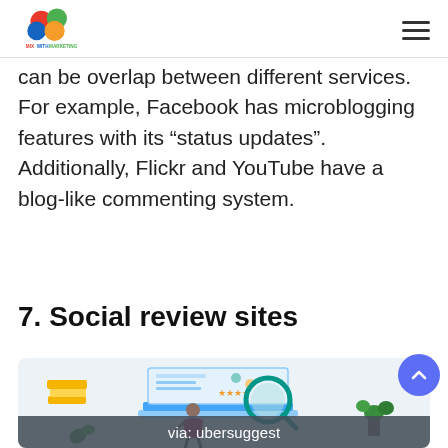MixWithMarketing logo and navigation menu
can be overlap between different services. For example, Facebook has microblogging features with its “status updates”. Additionally, Flickr and YouTube have a blog-like commenting system.
7. Social review sites
[Figure (illustration): Illustration of a person using a laptop with a magnifying glass over a review interface, books, plant decoration, and star ratings. Caption: via: ubersuggest]
via: ubersuggest